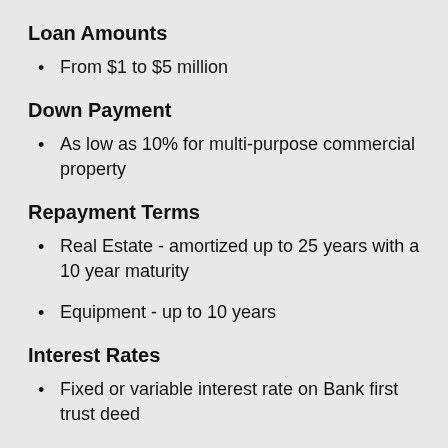Loan Amounts
From $1 to $5 million
Down Payment
As low as 10% for multi-purpose commercial property
Repayment Terms
Real Estate - amortized up to 25 years with a 10 year maturity
Equipment - up to 10 years
Interest Rates
Fixed or variable interest rate on Bank first trust deed